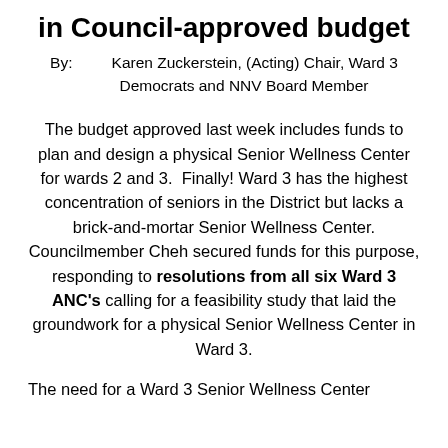in Council-approved budget
By:        Karen Zuckerstein, (Acting) Chair, Ward 3 Democrats and NNV Board Member
The budget approved last week includes funds to plan and design a physical Senior Wellness Center for wards 2 and 3.  Finally! Ward 3 has the highest concentration of seniors in the District but lacks a brick-and-mortar Senior Wellness Center. Councilmember Cheh secured funds for this purpose, responding to resolutions from all six Ward 3 ANC's calling for a feasibility study that laid the groundwork for a physical Senior Wellness Center in Ward 3.
The need for a Ward 3 Senior Wellness Center